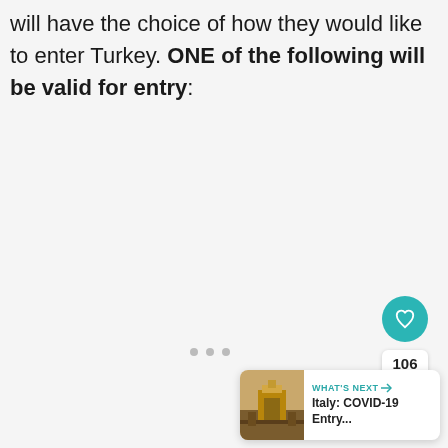will have the choice of how they would like to enter Turkey. ONE of the following will be valid for entry:
[Figure (screenshot): UI overlay with heart/like button showing teal circle with heart icon, count of 106, and a share button (circle with share icon). Three gray dots indicating a loading state. A 'What's Next' card in the bottom right showing a thumbnail image of a monument and text 'WHAT'S NEXT → Italy: COVID-19 Entry...']